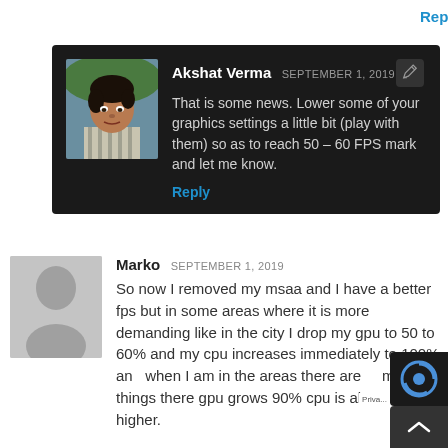Reply
Akshat Verma SEPTEMBER 1, 2019
That is some news. Lower some of your graphics settings a little bit (play with them) so as to reach 50 – 60 FPS mark and let me know.
Reply
[Figure (photo): Profile photo of Akshat Verma, a man in a striped shirt]
Marko SEPTEMBER 1, 2019
So now I removed my msaa and I have a better fps but in some areas where it is more demanding like in the city I drop my gpu to 50 to 60% and my cpu increases immediately to 100% and when I am in the areas there are many things there gpu grows 90% cpu is always higher.
[Figure (illustration): Placeholder silhouette avatar for Marko]